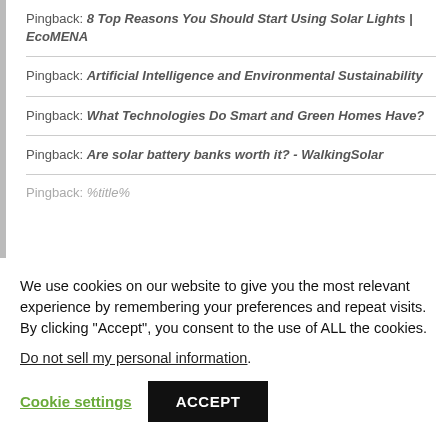Pingback: 8 Top Reasons You Should Start Using Solar Lights | EcoMENA
Pingback: Artificial Intelligence and Environmental Sustainability
Pingback: What Technologies Do Smart and Green Homes Have?
Pingback: Are solar battery banks worth it? - WalkingSolar
Pingback: %title%
We use cookies on our website to give you the most relevant experience by remembering your preferences and repeat visits. By clicking “Accept”, you consent to the use of ALL the cookies.
Do not sell my personal information.
Cookie settings  ACCEPT